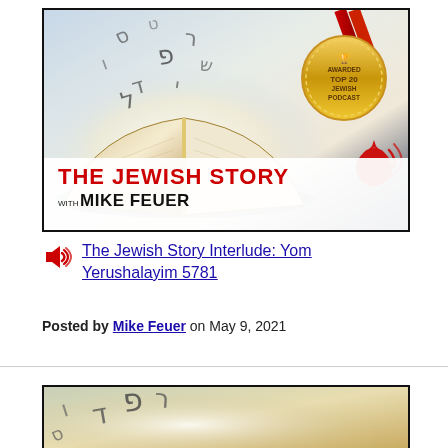[Figure (photo): Podcast cover image for 'The Jewish Story with Mike Feuer' showing an open book with Hebrew letters floating above it, a gold medal badge reading 'Awarded Top 20 Jewish Podcast', and a red pomegranate logo with wifi signal waves. Bottom banner shows the podcast title in red and black text.]
The Jewish Story Interlude: Yom Yerushalayim 5781
Posted by Mike Feuer on May 9, 2021
[Figure (photo): Second podcast image partially visible at bottom, showing Hebrew letters on a golden background.]